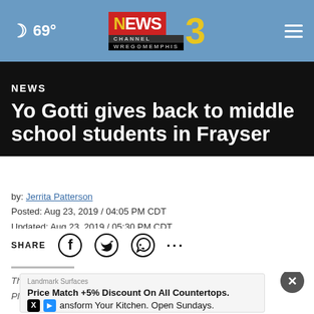69° NEWS CHANNEL 3 WREG MEMPHIS
NEWS
Yo Gotti gives back to middle school students in Frayser
by: Jerrita Patterson
Posted: Aug 23, 2019 / 04:05 PM CDT
Updated: Aug 23, 2019 / 05:30 PM CDT
SHARE
This is a archived article and the information in the article may be outdated. Please look at the time stamp on the story to see when it was last updated.
[Figure (other): Ad overlay: Landmark Surfaces - Price Match +5% Discount On All Countertops. Transform Your Kitchen. Open Sundays. Close button (X).]